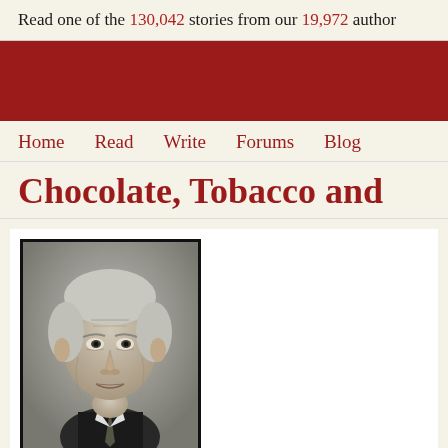Read one of the 130,042 stories from our 19,972 author
[Figure (other): Dark red banner/header background strip]
Home   Read   Write   Forums   Blog
Chocolate, Tobacco and
[Figure (photo): Black and white portrait photograph of an elderly man in a suit and tie, with angular features and grey hair, looking directly at the camera]